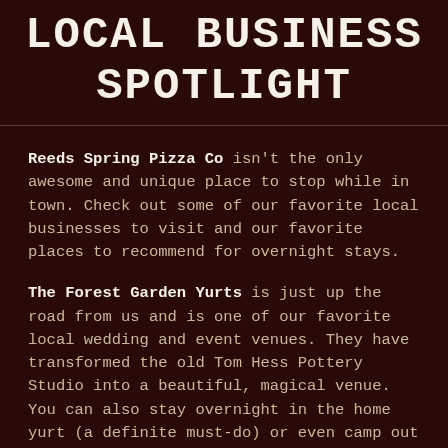LOCAL BUSINESS SPOTLIGHT
Reeds Spring Pizza Co isn't the only awesome and unique place to stop while in town. Check out some of our favorite local businesses to visit and our favorite places to recommend for overnight stays.
The Forest Garden Yurts is just up the road from us and is one of our favorite local wedding and event venues. They have transformed the old Tom Hess Pottery Studio into a beautiful, magical venue. You can also stay overnight in the home yurt (a definite must-do) or even camp out on the property.